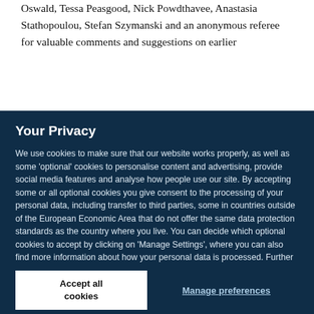Oswald, Tessa Peasgood, Nick Powdthavee, Anastasia Stathopoulou, Stefan Szymanski and an anonymous referee for valuable comments and suggestions on earlier
Your Privacy
We use cookies to make sure that our website works properly, as well as some ‘optional’ cookies to personalise content and advertising, provide social media features and analyse how people use our site. By accepting some or all optional cookies you give consent to the processing of your personal data, including transfer to third parties, some in countries outside of the European Economic Area that do not offer the same data protection standards as the country where you live. You can decide which optional cookies to accept by clicking on ‘Manage Settings’, where you can also find more information about how your personal data is processed. Further information can be found in our privacy policy.
Accept all cookies
Manage preferences